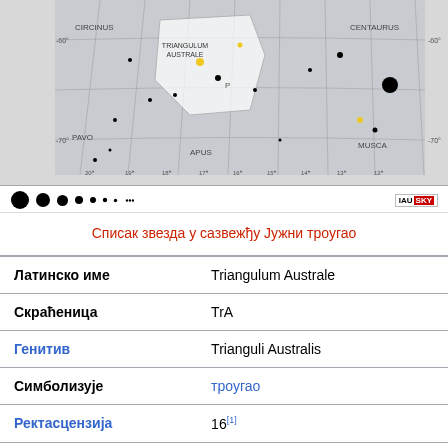[Figure (map): Star map of Triangulum Australe constellation region showing neighboring constellations Circinus, Centaurus, Musca, Apus, Pavo with coordinate grid lines and star markers of varying sizes. Coordinates range from approximately -60 to -70 declination and 13h to 20h right ascension.]
[Figure (infographic): Magnitude scale showing dots of decreasing sizes representing star magnitudes from largest to smallest, with IAU Sky badge on the right.]
Списак звезда у сазвежђу Јужни троугао
| Property | Value |
| --- | --- |
| Латинско име | Triangulum Australe |
| Скраћеница | TrA |
| Генитив | Trianguli Australis |
| Симболизује | троугао |
| Ректасцензија | 16[1] |
| Деклинација | -65[1] |